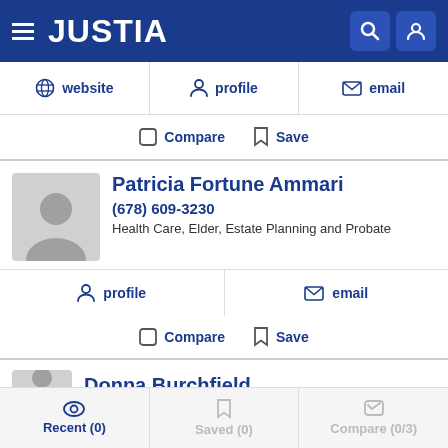JUSTIA
website  profile  email
Compare  Save
Patricia Fortune Ammari
(678) 609-3230
Health Care, Elder, Estate Planning and Probate
profile  email
Compare  Save
Donna Burchfield
Recent (0)  Saved (0)  Compare (0/3)